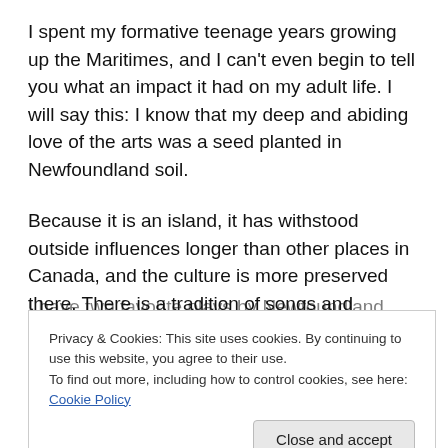I spent my formative teenage years growing up the Maritimes, and I can't even begin to tell you what an impact it had on my adult life. I will say this: I know that my deep and abiding love of the arts was a seed planted in Newfoundland soil.
Because it is an island, it has withstood outside influences longer than other places in Canada, and the culture is more preserved there. There is a tradition of songs and storytelling that goes very deep.
I have two favorite plays by Newfoundland playwrights: the
[Figure (screenshot): Cookie consent banner with text: 'Privacy & Cookies: This site uses cookies. By continuing to use this website, you agree to their use. To find out more, including how to control cookies, see here: Cookie Policy' and a 'Close and accept' button.]
...doing publicity for an upcoming production of Terence...